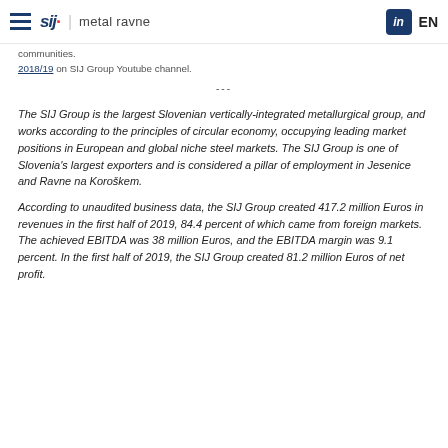sij | metal ravne | EN
communities.
2018/19 on SIJ Group Youtube channel.
---
The SIJ Group is the largest Slovenian vertically-integrated metallurgical group, and works according to the principles of circular economy, occupying leading market positions in European and global niche steel markets. The SIJ Group is one of Slovenia's largest exporters and is considered a pillar of employment in Jesenice and Ravne na Koroškem.
According to unaudited business data, the SIJ Group created 417.2 million Euros in revenues in the first half of 2019, 84.4 percent of which came from foreign markets. The achieved EBITDA was 38 million Euros, and the EBITDA margin was 9.1 percent. In the first half of 2019, the SIJ Group created 81.2 million Euros of net profit.